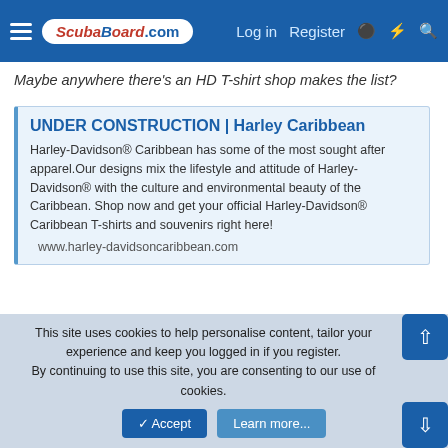ScubaBoard.com | Log in | Register
Maybe anywhere there's an HD T-shirt shop makes the list?
UNDER CONSTRUCTION | Harley Caribbean
Harley-Davidson® Caribbean has some of the most sought after apparel.Our designs mix the lifestyle and attitude of Harley-Davidson® with the culture and environmental beauty of the Caribbean. Shop now and get your official Harley-Davidson® Caribbean T-shirts and souvenirs right here!
www.harley-davidsoncaribbean.com
(been in this squatty status for years)
scrane and azstinger11
This site uses cookies to help personalise content, tailor your experience and keep you logged in if you register.
By continuing to use this site, you are consenting to our use of cookies.